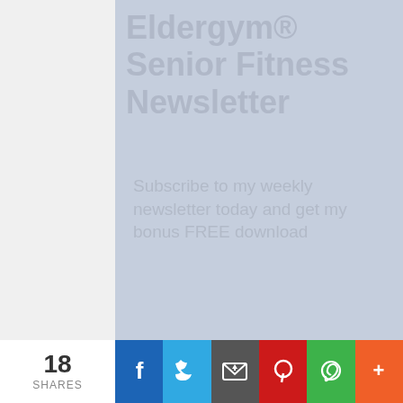Eldergym® Senior Fitness Newsletter
Subscribe to my weekly newsletter today and get my bonus FREE download
4 week Senior Fitness Program.
[Figure (other): First Name input field placeholder]
[Figure (other): Email input field placeholder]
[Figure (other): SUBSCRIBE button in yellow-gold gradient]
18 SHARES | Facebook | Twitter | Email | Pinterest | WhatsApp | More